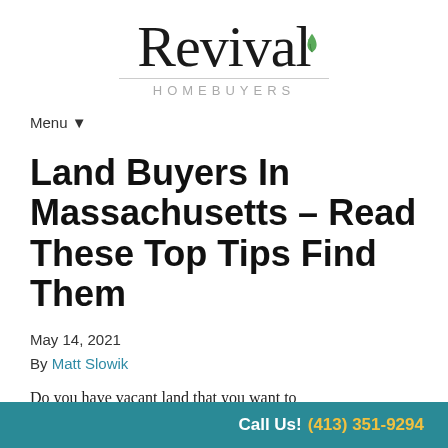[Figure (logo): Revival Homebuyers logo with cursive 'Revival' script, green leaf accent, and 'HOMEBUYERS' in spaced sans-serif letters below a horizontal rule]
Menu ▼
Land Buyers In Massachusetts – Read These Top Tips Find Them
May 14, 2021
By Matt Slowik
Do you have vacant land that you want to
Call Us! (413) 351-9294